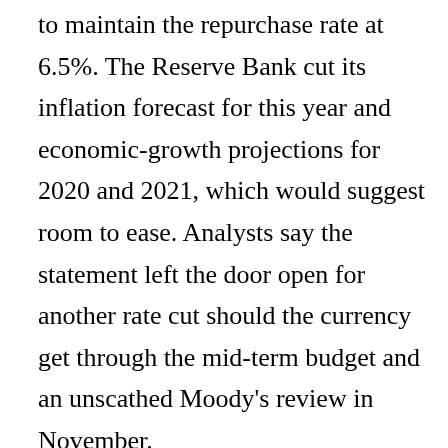to maintain the repurchase rate at 6.5%. The Reserve Bank cut its inflation forecast for this year and economic-growth projections for 2020 and 2021, which would suggest room to ease. Analysts say the statement left the door open for another rate cut should the currency get through the mid-term budget and an unscathed Moody's review in November.
After an initial improvement in the Rand to R14.61 to the dollar, the currency fell to end the day at R14.74.
Richemont shares recovered and rose